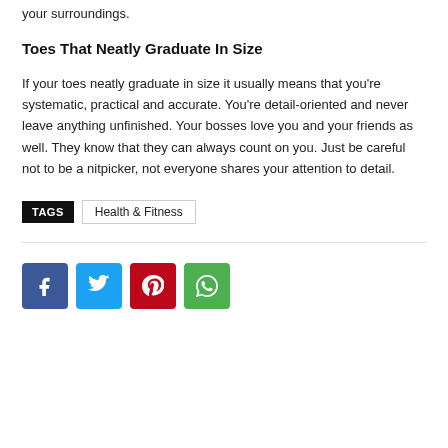your surroundings.
Toes That Neatly Graduate In Size
If your toes neatly graduate in size it usually means that you're systematic, practical and accurate. You're detail-oriented and never leave anything unfinished. Your bosses love you and your friends as well. They know that they can always count on you. Just be careful not to be a nitpicker, not everyone shares your attention to detail.
TAGS  Health & Fitness
[Figure (other): Social share buttons: Facebook, Twitter, Pinterest, WhatsApp]